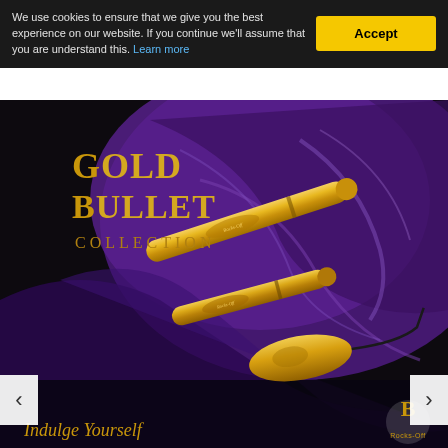We use cookies to ensure that we give you the best experience on our website. If you continue we'll assume that you are understand this. Learn more
[Figure (photo): Gold Bullet Collection product photo showing three gold-colored bullet vibrators on a purple satin background. Text overlay reads 'GOLD BULLET COLLECTION' in gold serif font and 'Indulge Yourself' at the bottom. Rocks-Off brand logo visible in bottom right corner.]